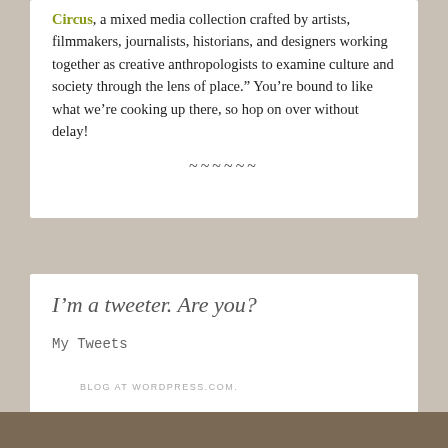Circus, a mixed media collection crafted by artists, filmmakers, journalists, historians, and designers working together as creative anthropologists to examine culture and society through the lens of place.” You’re bound to like what we’re cooking up there, so hop on over without delay!
~~~~~~
I’m a tweeter. Are you?
My Tweets
BLOG AT WORDPRESS.COM.